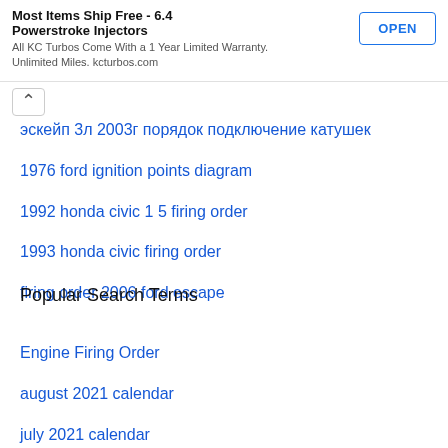[Figure (screenshot): Advertisement banner: 'Most Items Ship Free - 6.4 Powerstroke Injectors' with OPEN button. Text: 'All KC Turbos Come With a 1 Year Limited Warranty. Unlimited Miles. kcturbos.com']
эскейп 3л 2003г порядок подключение катушек
1976 ford ignition points diagram
1992 honda civic 1 5 firing order
1993 honda civic firing order
firing order 2006 ford escape
Popular Search Terms
Engine Firing Order
august 2021 calendar
july 2021 calendar